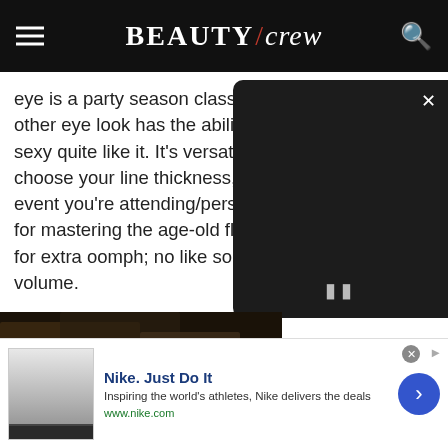BEAUTY/crew
eye is a party season classic for o other eye look has the ability to m and sexy quite like it. It's versatile can choose your line thickness, w the event you're attending/perso advice for mastering the age-old fluffy lashes for extra oomph; no like some wispy volume.
[Figure (screenshot): Dark video player overlay panel with close (X) button at top right and pause (||) button at bottom center]
[Figure (photo): Partial photo strip showing dark hair/scene at bottom of content area]
[Figure (infographic): Nike advertisement banner: Nike. Just Do It. Inspiring the world's athletes, Nike delivers the deals. www.nike.com]